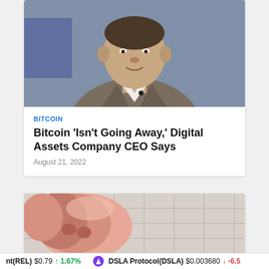[Figure (photo): Photo of a man in a grey/brown blazer and white shirt, speaking, with blurred blue background]
BITCOIN
Bitcoin ‘Isn’t Going Away,’ Digital Assets Company CEO Says
August 21, 2022
[Figure (photo): Close-up photo of a pink pig or piglet near tiled wall background]
nt(REL) $0.79 ↑ 1.67% ⚡ DSLA Protocol(DSLA) $0.003680 ↓ -6.5%